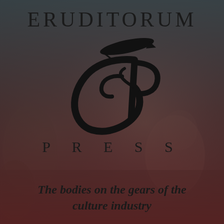[Figure (logo): Eruditorum Press logo page with stylized EP monogram, painted classical background with figures and angels, dark overlay gradient fading from slate-green to deep red-brown]
ERUDITORUM
[Figure (logo): Stylized EP monogram logo in black — a large sweeping cursive E combined with a P, with a pen-like dash element above]
PRESS
The bodies on the gears of the culture industry